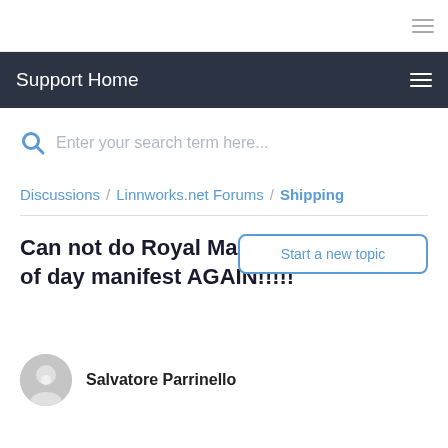Support Home
Enter your search term here...
Discussions / Linnworks.net Forums / Shipping
Can not do Royal Mail end of day manifest AGAIN!!!!!
Start a new topic
Salvatore Parrinello